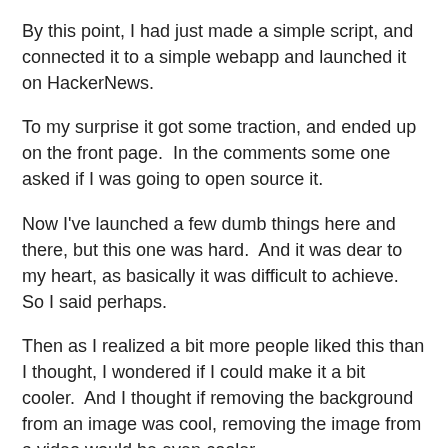By this point, I had just made a simple script, and connected it to a simple webapp and launched it on HackerNews.
To my surprise it got some traction, and ended up on the front page.  In the comments some one asked if I was going to open source it.
Now I've launched a few dumb things here and there, but this one was hard.  And it was dear to my heart, as basically it was difficult to achieve.  So I said perhaps.
Then as I realized a bit more people liked this than I thought, I wondered if I could make it a bit cooler.  And I thought if removing the background from an image was cool, removing the image from a video would be even cooler.